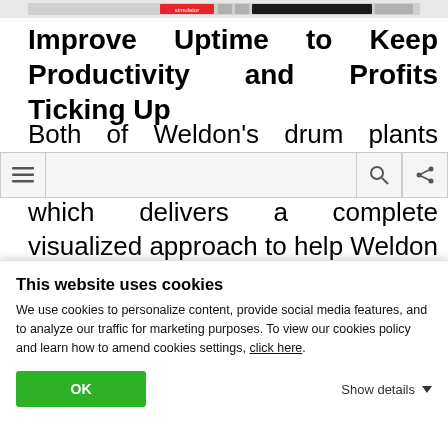[Figure (screenshot): Top strip of a website screenshot showing a navigation/toolbar area with a red element labeled 'simulator' and some controls]
Improve Uptime to Keep Productivity and Profits Ticking Up
Both of Weldon's drum plants operate
which delivers a complete visualized approach to help Weldon monitor their plants.
With the Libra Asphalt Drum Controls
This website uses cookies
We use cookies to personalize content, provide social media features, and to analyze our traffic for marketing purposes. To view our cookies policy and learn how to amend cookies settings, click here.